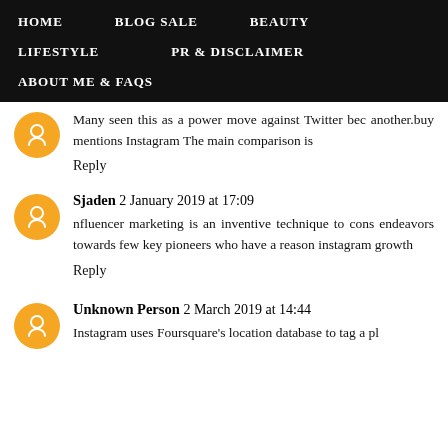HOME   BLOG SALE   BEAUTY   LIFESTYLE   PR & DISCLAIMER   ABOUT ME & FAQs
Many seen this as a power move against Twitter bec another.buy mentions Instagram The main comparison is
Reply
Sjaden  2 January 2019 at 17:09
nfluencer marketing is an inventive technique to cons endeavors towards few key pioneers who have a reason instagram growth
Reply
Unknown Person  2 March 2019 at 14:44
Instagram uses Foursquare's location database to tag a pl